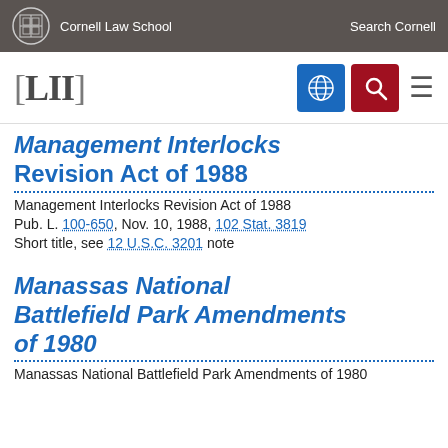Cornell Law School | Search Cornell
Management Interlocks Revision Act of 1988
Management Interlocks Revision Act of 1988
Pub. L. 100-650, Nov. 10, 1988, 102 Stat. 3819
Short title, see 12 U.S.C. 3201 note
Manassas National Battlefield Park Amendments of 1980
Manassas National Battlefield Park Amendments of 1980